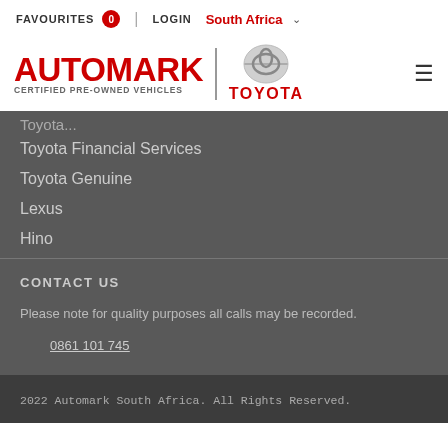FAVOURITES 0 | LOGIN South Africa
[Figure (logo): Automark Certified Pre-Owned Vehicles logo with Toyota emblem]
Toyota Financial Services
Toyota Genuine
Lexus
Hino
CONTACT US
Please note for quality purposes all calls may be recorded.
0861 101 745
2022 Automark South Africa. All Rights Reserved.